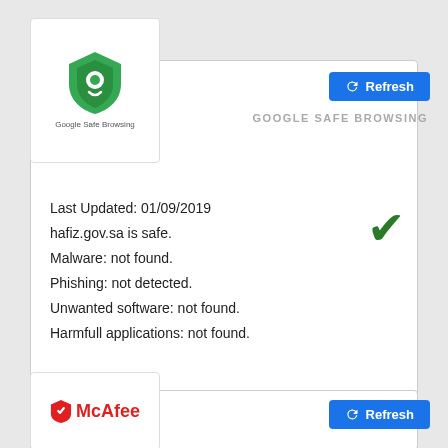[Figure (logo): Google Safe Browsing shield logo with text]
Refresh
GOOGLE SAFE BROWSING
Last Updated: 01/09/2019
hafiz.gov.sa is safe.
Malware: not found.
Phishing: not detected.
Unwanted software: not found.
Harmfull applications: not found.
Google Safe Browsing notifies when websites are compromised by malicious actors. These protections work across Google products and provide a safer online experience.
[Figure (logo): McAfee logo with red shield icon]